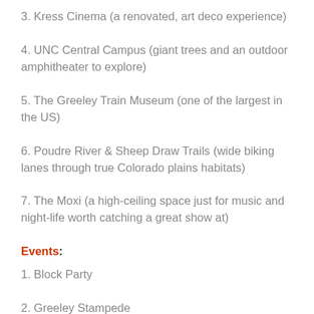3. Kress Cinema (a renovated, art deco experience)
4. UNC Central Campus (giant trees and an outdoor amphitheater to explore)
5. The Greeley Train Museum (one of the largest in the US)
6. Poudre River & Sheep Draw Trails (wide biking lanes through true Colorado plains habitats)
7. The Moxi (a high-ceiling space just for music and night-life worth catching a great show at)
Events:
1. Block Party
2. Greeley Stampede
3. Potato Day